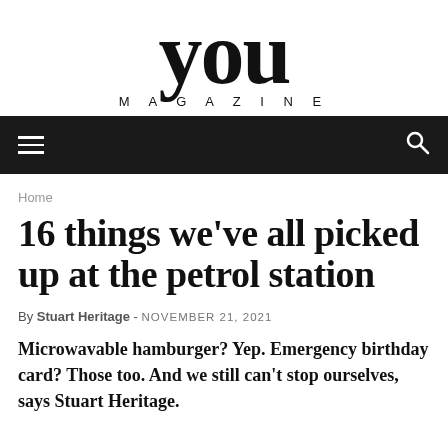YOU MAGAZINE
Home
16 things we've all picked up at the petrol station
By Stuart Heritage - NOVEMBER 21, 2021
Microwavable hamburger? Yep. Emergency birthday card? Those too. And we still can't stop ourselves, says Stuart Heritage.